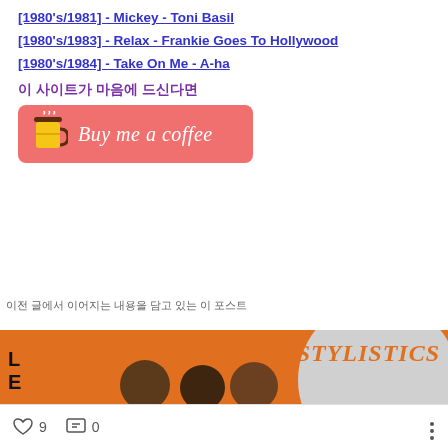[1980's/1981] - Mickey - Toni Basil
[1980's/1983] - Relax - Frankie Goes To Hollywood
[1980's/1984] - Take On Me - A-ha
이 사이트가 마음에 드신다면
[Figure (infographic): Buy me a coffee button with coffee cup icon on salmon/red background]
이전 글에서 이어지는 내용입니다 (partially visible text)
[Figure (photo): The Stylistics album cover on orange background with vinyl record]
♡ 9  … 0